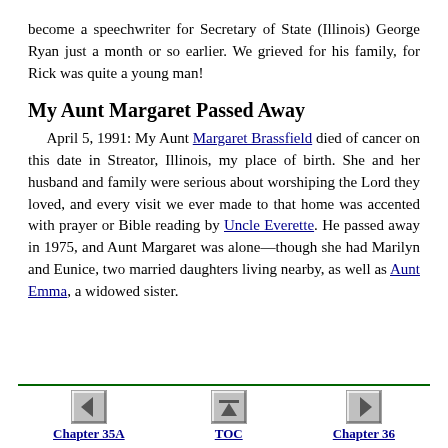become a speechwriter for Secretary of State (Illinois) George Ryan just a month or so earlier. We grieved for his family, for Rick was quite a young man!
My Aunt Margaret Passed Away
April 5, 1991: My Aunt Margaret Brassfield died of cancer on this date in Streator, Illinois, my place of birth. She and her husband and family were serious about worshiping the Lord they loved, and every visit we ever made to that home was accented with prayer or Bible reading by Uncle Everette. He passed away in 1975, and Aunt Margaret was alone—though she had Marilyn and Eunice, two married daughters living nearby, as well as Aunt Emma, a widowed sister.
Chapter 35A  TOC  Chapter 36